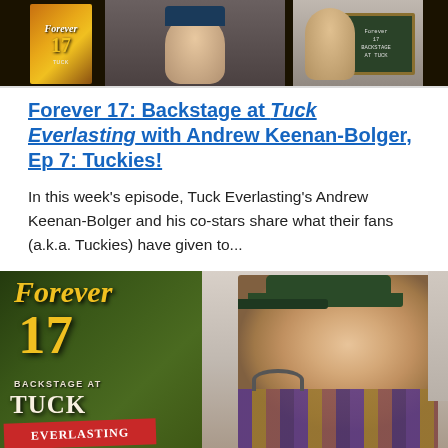[Figure (photo): Top image showing Tuck Everlasting promotional material and people holding signs backstage]
Forever 17: Backstage at Tuck Everlasting with Andrew Keenan-Bolger, Ep 7: Tuckies!
In this week's episode, Tuck Everlasting's Andrew Keenan-Bolger and his co-stars share what their fans (a.k.a. Tuckies) have given to...
[Figure (photo): Forever 17 episode thumbnail showing the logo with Andrew Keenan-Bolger smiling, wearing a cap and plaid shirt]